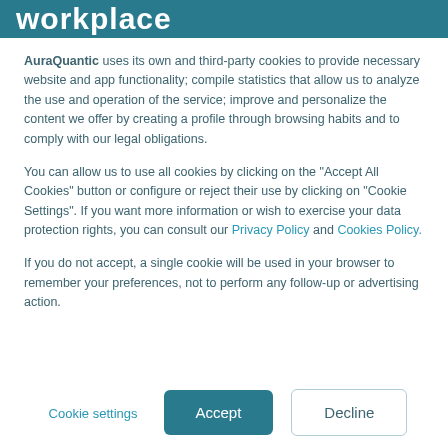workplace
AuraQuantic uses its own and third-party cookies to provide necessary website and app functionality; compile statistics that allow us to analyze the use and operation of the service; improve and personalize the content we offer by creating a profile through browsing habits and to comply with our legal obligations.
You can allow us to use all cookies by clicking on the "Accept All Cookies" button or configure or reject their use by clicking on "Cookie Settings". If you want more information or wish to exercise your data protection rights, you can consult our Privacy Policy and Cookies Policy.
If you do not accept, a single cookie will be used in your browser to remember your preferences, not to perform any follow-up or advertising action.
Cookie settings | Accept | Decline